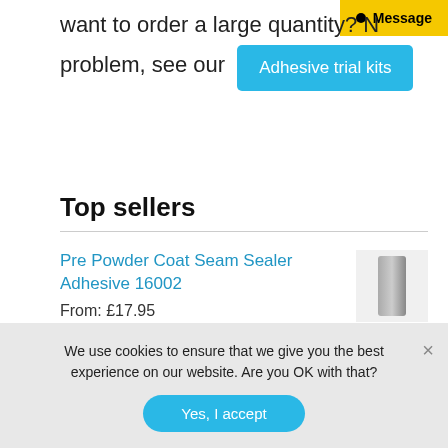want to order a large quantity? N
[Figure (other): Yellow Message button with black dot icon]
problem, see our
[Figure (other): Blue Adhesive trial kits button]
Top sellers
Pre Powder Coat Seam Sealer Adhesive 16002
From: £17.95
[Figure (photo): Small photo of a sealant tube/cartridge product]
Colour Match Silicone Sealant
[Figure (photo): Small photo of a green sealant tube]
We use cookies to ensure that we give you the best experience on our website. Are you OK with that?
Yes, I accept